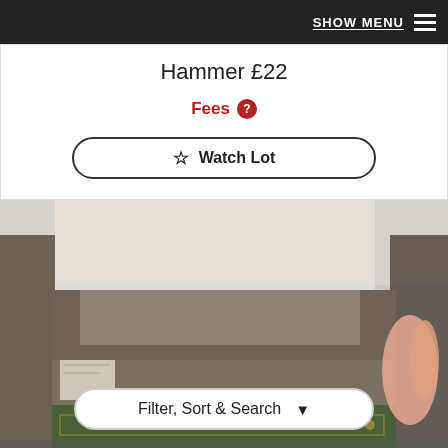SHOW MENU
Hammer £22
Fees
Watch Lot
[Figure (photo): A hand holding up a worn book, showing its spine and cover from below. Beneath it is another book with a green decorative spine. The setting appears to be an auction house or bookshop.]
Filter, Sort & Search